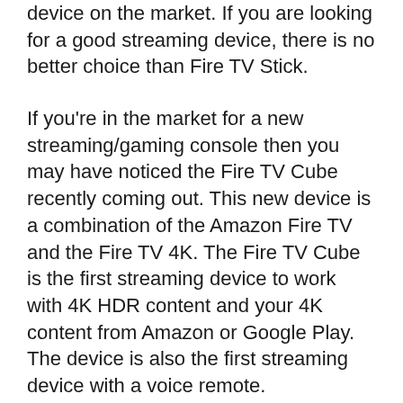device on the market. If you are looking for a good streaming device, there is no better choice than Fire TV Stick.
If you're in the market for a new streaming/gaming console then you may have noticed the Fire TV Cube recently coming out. This new device is a combination of the Amazon Fire TV and the Fire TV 4K. The Fire TV Cube is the first streaming device to work with 4K HDR content and your 4K content from Amazon or Google Play. The device is also the first streaming device with a voice remote.
In this article, we'll take a look at the three Fire TV devices currently on the market: FireStick, FireStick 4K and Fire TV Cube (3rd